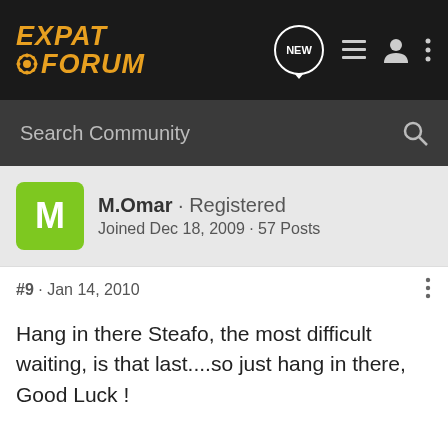EXPAT FORUM
Search Community
M.Omar · Registered
Joined Dec 18, 2009 · 57 Posts
#9 · Jan 14, 2010
Hang in there Steafo, the most difficult waiting, is that last....so just hang in there, Good Luck !
Reply  Quote